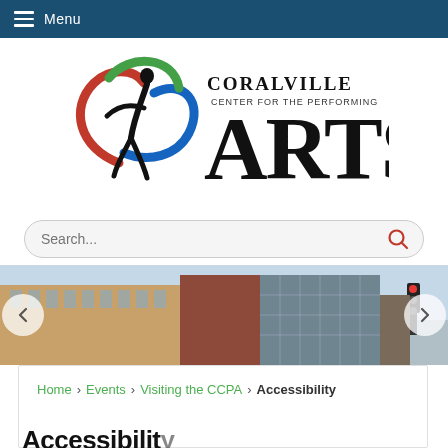Menu
[Figure (logo): Coralville Center for the Performing Arts logo with colorful swirl and large ARTS text]
Search...
[Figure (photo): Exterior photo of the Coralville Center for the Performing Arts building with slideshow navigation arrows]
Home › Events › Visiting the CCPA › Accessibility
Accessibility